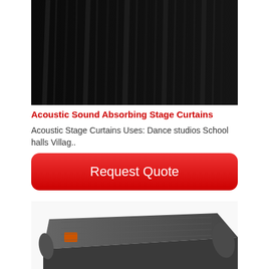[Figure (photo): Dark black acoustic stage curtains with vertical folds/drapes, close-up product photo on white background]
Acoustic Sound Absorbing Stage Curtains
Acoustic Stage Curtains Uses: Dance studios School halls Villag..
[Figure (other): Red rounded rectangle button with white text reading 'Request Quote']
[Figure (photo): Dark grey/charcoal acoustic mat or panel rolled/folded, with small orange label tag visible, product photo]